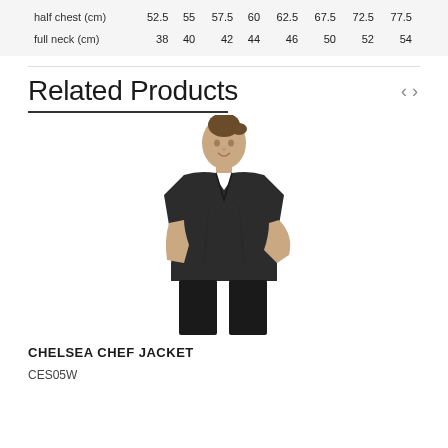|  | 52.5 | 55 | 57.5 | 60 | 62.5 | 67.5 | 72.5 | 77.5 |
| --- | --- | --- | --- | --- | --- | --- | --- | --- |
| half chest (cm) | 52.5 | 55 | 57.5 | 60 | 62.5 | 67.5 | 72.5 | 77.5 |
| full neck (cm) | 38 | 40 | 42 | 44 | 46 | 50 | 52 | 54 |
Related Products
[Figure (photo): Woman wearing a black short-sleeve Chelsea chef jacket, posing with one hand on hip against a white background]
CHELSEA CHEF JACKET
CES05W